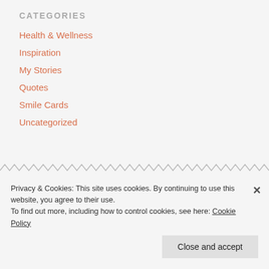CATEGORIES
Health & Wellness
Inspiration
My Stories
Quotes
Smile Cards
Uncategorized
Privacy & Cookies: This site uses cookies. By continuing to use this website, you agree to their use.
To find out more, including how to control cookies, see here: Cookie Policy
Close and accept